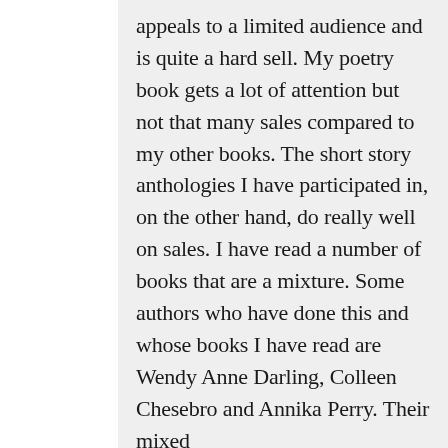appeals to a limited audience and is quite a hard sell. My poetry book gets a lot of attention but not that many sales compared to my other books. The short story anthologies I have participated in, on the other hand, do really well on sales. I have read a number of books that are a mixture. Some authors who have done this and whose books I have read are Wendy Anne Darling, Colleen Chesebro and Annika Perry. Their mixed